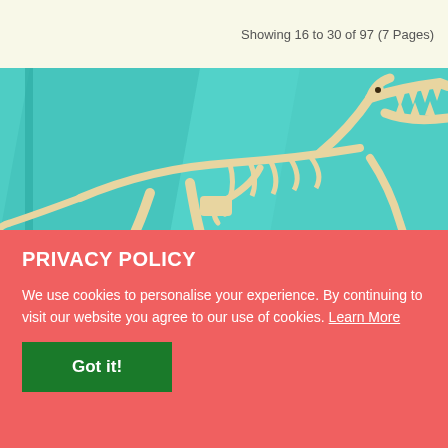Showing 16 to 30 of 97 (7 Pages)
[Figure (illustration): Illustrated dinosaur skeleton (T-Rex style) on a teal/cyan background with geometric shapes, rendered in a flat graphic style with cream/beige bone colors.]
PRIVACY POLICY
We use cookies to personalise your experience. By continuing to visit our website you agree to our use of cookies. Learn More
Got it!